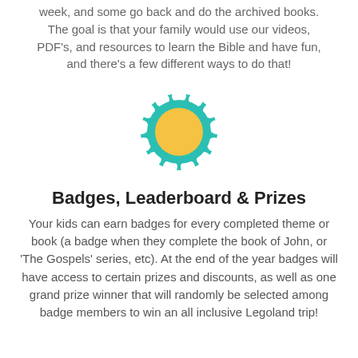week, and some go back and do the archived books. The goal is that your family would use our videos, PDF's, and resources to learn the Bible and have fun, and there's a few different ways to do that!
[Figure (illustration): A teal/turquoise scalloped badge icon with a golden-yellow circle in the center, representing a reward badge.]
Badges, Leaderboard & Prizes
Your kids can earn badges for every completed theme or book (a badge when they complete the book of John, or 'The Gospels' series, etc). At the end of the year badges will have access to certain prizes and discounts, as well as one grand prize winner that will randomly be selected among badge members to win an all inclusive Legoland trip!